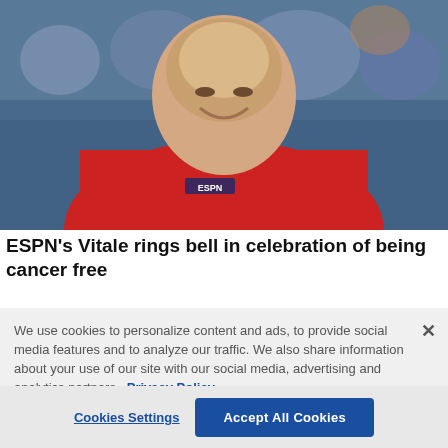[Figure (photo): An elderly man wearing a red ESPN jacket smiling at a basketball arena event with crowd in the background]
ESPN's Vitale rings bell in celebration of being cancer free
We use cookies to personalize content and ads, to provide social media features and to analyze our traffic. We also share information about your use of our site with our social media, advertising and analytics partners. Privacy Policy
Cookies Settings | Accept All Cookies